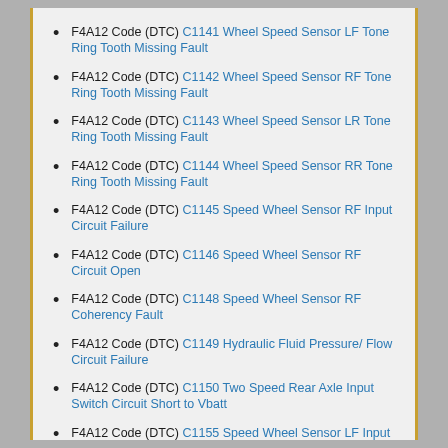F4A12 Code (DTC) C1141 Wheel Speed Sensor LF Tone Ring Tooth Missing Fault
F4A12 Code (DTC) C1142 Wheel Speed Sensor RF Tone Ring Tooth Missing Fault
F4A12 Code (DTC) C1143 Wheel Speed Sensor LR Tone Ring Tooth Missing Fault
F4A12 Code (DTC) C1144 Wheel Speed Sensor RR Tone Ring Tooth Missing Fault
F4A12 Code (DTC) C1145 Speed Wheel Sensor RF Input Circuit Failure
F4A12 Code (DTC) C1146 Speed Wheel Sensor RF Circuit Open
F4A12 Code (DTC) C1148 Speed Wheel Sensor RF Coherency Fault
F4A12 Code (DTC) C1149 Hydraulic Fluid Pressure/ Flow Circuit Failure
F4A12 Code (DTC) C1150 Two Speed Rear Axle Input Switch Circuit Short to Vbatt
F4A12 Code (DTC) C1155 Speed Wheel Sensor LF Input Circuit Failure
F4A12 Code (DTC) C1156 Speed Wheel Sensor LF Circuit Open